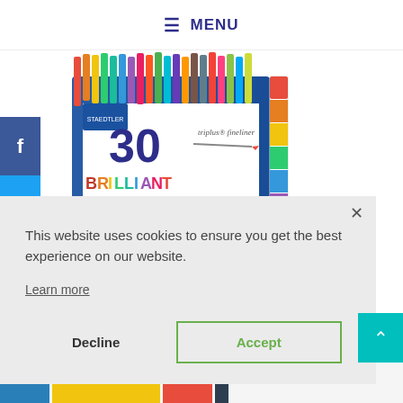≡ MENU
[Figure (photo): Staedtler triplus fineliner 30 Brilliant Colours product box, showing colorful pen caps fanned out at the top and large multicolored text '30 BRILLIANT COLOURS' on the packaging.]
This website uses cookies to ensure you get the best experience on our website.
Learn more
Decline
Accept